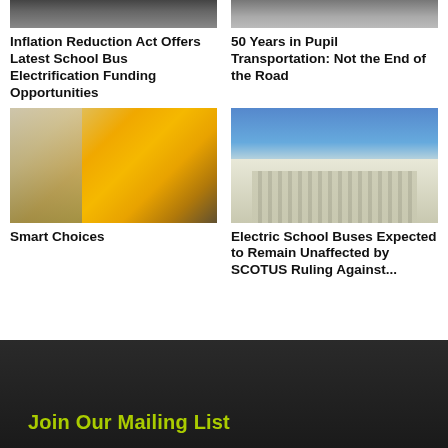[Figure (photo): Partial cropped image of a school bus electrification topic, top portion cut off]
[Figure (photo): Partial cropped image of a person, top portion cut off, 50 years in pupil transportation article]
Inflation Reduction Act Offers Latest School Bus Electrification Funding Opportunities
50 Years in Pupil Transportation: Not the End of the Road
[Figure (photo): Yellow school bus on a city street with cars nearby]
[Figure (photo): Supreme Court building exterior with columns against blue sky]
Smart Choices
Electric School Buses Expected to Remain Unaffected by SCOTUS Ruling Against...
Join Our Mailing List